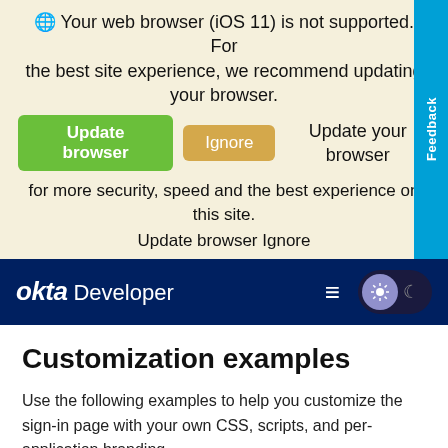🌐 Your web browser (iOS 11) is not supported. For the best site experience, we recommend updating your browser.
Update browser   Ignore   Update your browser for more security, speed and the best experience on this site.
Update browser Ignore
[Figure (screenshot): Okta Developer navigation bar with hamburger menu and theme toggle button]
Customization examples
Use the following examples to help you customize the sign-in page with your own CSS, scripts, and per-application branding.
Add your own stylesheet